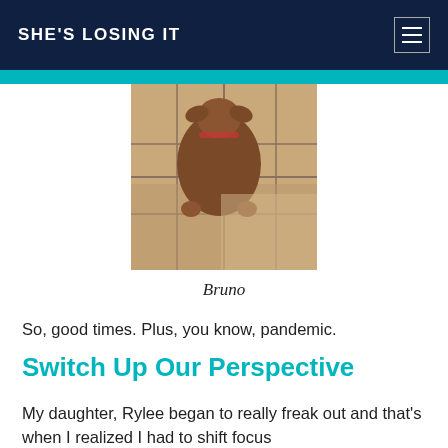SHE'S LOSING IT
[Figure (photo): A dog sitting on tile floor, viewed from above]
Bruno
So, good times. Plus, you know, pandemic.
Switch Up Our Perspective
My daughter, Rylee began to really freak out and that's when I realized I had to shift focus